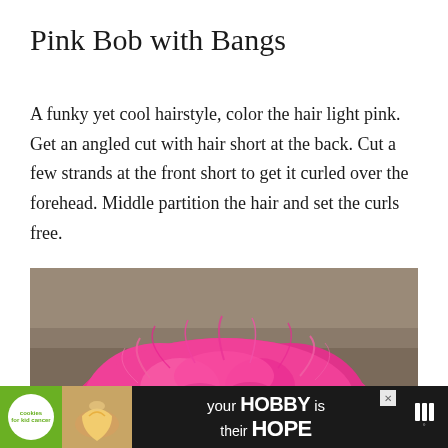Pink Bob with Bangs
A funky yet cool hairstyle, color the hair light pink. Get an angled cut with hair short at the back. Cut a few strands at the front short to get it curled over the forehead. Middle partition the hair and set the curls free.
[Figure (photo): Top-down photo of a person with bright pink/magenta curly bob hair against a dark brownish background]
[Figure (infographic): Advertisement banner for cookies for kid cancer charity. Green section with cookie circle logo, image of hands holding heart-shaped cookie, text reading 'your HOBBY is their HOPE', close button, and Meredith logo on black background]